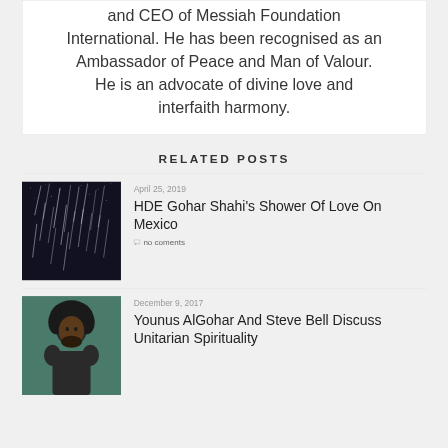and CEO of Messiah Foundation International. He has been recognised as an Ambassador of Peace and Man of Valour. He is an advocate of divine love and interfaith harmony.
RELATED POSTS
[Figure (photo): Dark night sky with streaks of light resembling a meteor shower or rain]
April 25, 2019
HDE Gohar Shahi's Shower Of Love On Mexico
no coments
[Figure (photo): Portrait of a man with an afro hairstyle against a teal/green background]
December 9, 2017
Younus AlGohar And Steve Bell Discuss Unitarian Spirituality